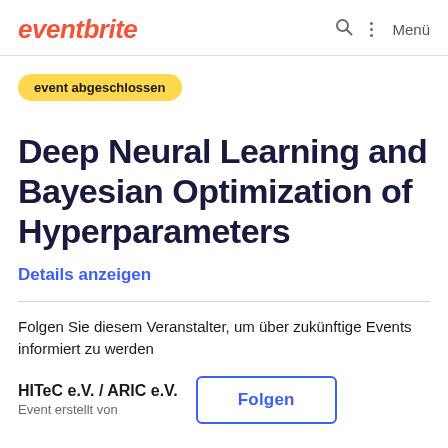eventbrite  Menü
event abgeschlossen
Deep Neural Learning and Bayesian Optimization of Hyperparameters
Details anzeigen
Folgen Sie diesem Veranstalter, um über zukünftige Events informiert zu werden
HITeC e.V. / ARIC e.V.
Event erstellt von
Folgen